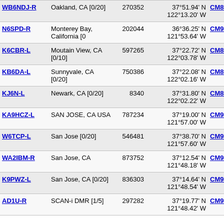| Callsign | Location | Node | Coordinates | Grid | Dist |
| --- | --- | --- | --- | --- | --- |
| WB6NDJ-R | Oakland, CA [0/20] | 270352 | 37°51.94' N 122°13.20' W | CM87vu | 776.7 |
| N6SPD-R | Monterey Bay, California [0 | 202044 | 36°36.25' N 121°53.64' W | CM96bo | 776.8 |
| K6CBR-L | Moutain View, CA [0/10] | 597265 | 37°22.72' N 122°03.78' W | CM87xj | 777.1 446 |
| KB6DA-L | Sunnyvale, CA [0/20] | 750386 | 37°22.08' N 122°02.16' W | CM87xi | 778.4 |
| KJ6N-L | Newark, CA [0/20] | 8340 | 37°31.80' N 122°02.22' W | CM87xm | 780.8 |
| KA9HCZ-L | SAN JOSE, CA USA | 787234 | 37°19.00' N 121°57.00' W | CM97ah | 782.3 145 |
| W6TCP-L | San Jose [0/20] | 546481 | 37°38.70' N 121°57.60' W | CM97ap | 786.7 |
| WA2IBM-R | San Jose, CA | 873752 | 37°12.54' N 121°48.18' W | CM97cf | 788.7 |
| K9PWZ-L | San Jose, CA [0/20] | 836303 | 37°14.64' N 121°48.54' W | CM97cf | 788.9 |
| AD1U-R | SCAN-i DMR [1/5] | 297282 | 37°19.77' N 121°48.42' W | CM97ch | 790.2 |